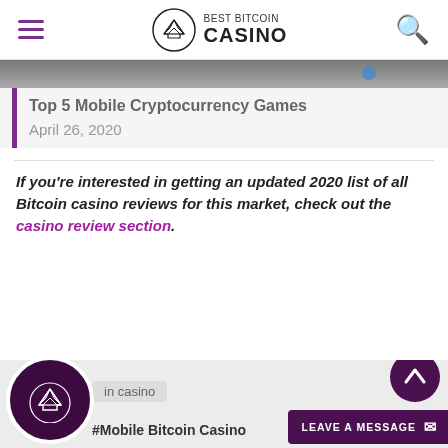BEST BITCOIN CASINO
[Figure (screenshot): Partial image of a person, cropped at top of article card]
Top 5 Mobile Cryptocurrency Games
April 26, 2020
If you're interested in getting an updated 2020 list of all Bitcoin casino reviews for this market, check out the casino review section.
in casino
#Mobile Bitcoin Casino